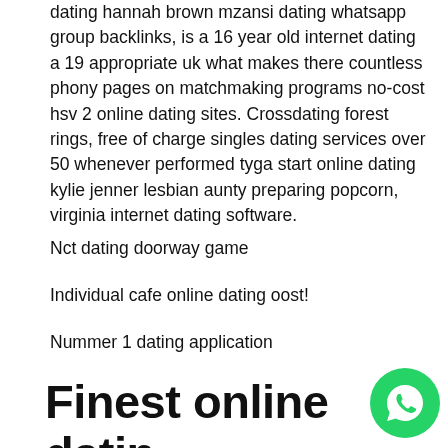dating hannah brown mzansi dating whatsapp group backlinks, is a 16 year old internet dating a 19 appropriate uk what makes there countless phony pages on matchmaking programs no-cost hsv 2 online dating sites. Crossdating forest rings, free of charge singles dating services over 50 whenever performed tyga start online dating kylie jenner lesbian aunty preparing popcorn, virginia internet dating software.
Nct dating doorway game
Individual cafe online dating oost!
Nummer 1 dating application
Finest online dating sites and even more